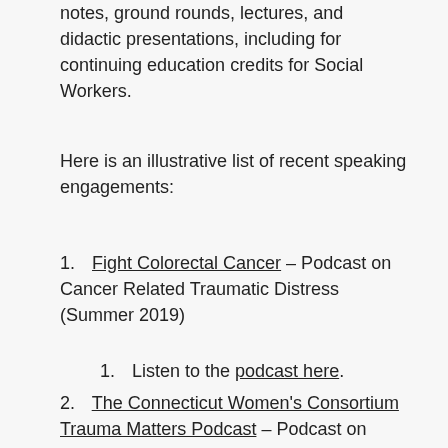notes, ground rounds, lectures, and didactic presentations, including for continuing education credits for Social Workers.
Here is an illustrative list of recent speaking engagements:
1. Fight Colorectal Cancer – Podcast on Cancer Related Traumatic Distress (Summer 2019)
1. Listen to the podcast here.
2. The Connecticut Women's Consortium Trauma Matters Podcast – Podcast on Cancer Traumatic Related Distress